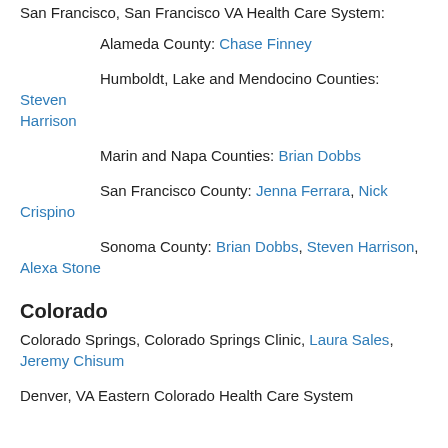San Francisco, San Francisco VA Health Care System:
Alameda County: Chase Finney
Humboldt, Lake and Mendocino Counties: Steven Harrison
Marin and Napa Counties: Brian Dobbs
San Francisco County: Jenna Ferrara, Nick Crispino
Sonoma County: Brian Dobbs, Steven Harrison, Alexa Stone
Colorado
Colorado Springs, Colorado Springs Clinic, Laura Sales, Jeremy Chisum
Denver, VA Eastern Colorado Health Care System